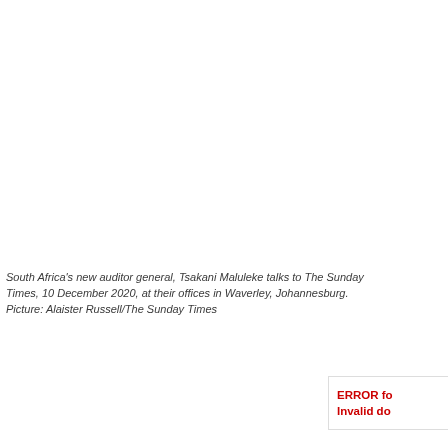South Africa's new auditor general, Tsakani Maluleke talks to The Sunday Times, 10 December 2020, at their offices in Waverley, Johannesburg. Picture: Alaister Russell/The Sunday Times
ERROR fo Invalid do